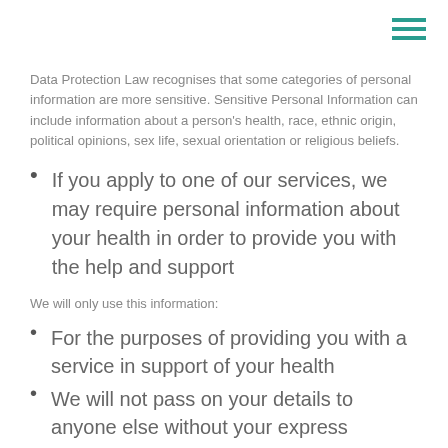Data Protection Law recognises that some categories of personal information are more sensitive. Sensitive Personal Information can include information about a person's health, race, ethnic origin, political opinions, sex life, sexual orientation or religious beliefs.
If you apply to one of our services, we may require personal information about your health in order to provide you with the help and support
We will only use this information:
For the purposes of providing you with a service in support of your health
We will not pass on your details to anyone else without your express permission except in exceptional circumstances. Examples of